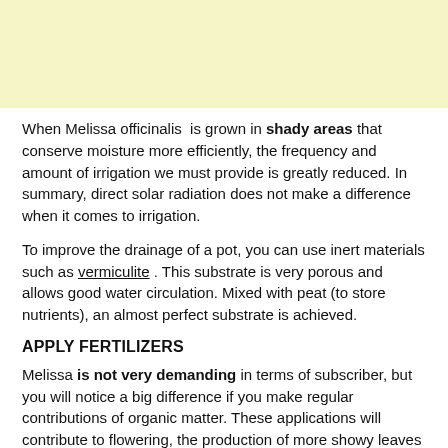[Figure (other): Yellow/cream colored rectangular block at the top of the page]
When Melissa officinalis  is grown in shady areas that conserve moisture more efficiently, the frequency and amount of irrigation we must provide is greatly reduced. In summary, direct solar radiation does not make a difference when it comes to irrigation.
To improve the drainage of a pot, you can use inert materials such as vermiculite . This substrate is very porous and allows good water circulation. Mixed with peat (to store nutrients), an almost perfect substrate is achieved.
APPLY FERTILIZERS
Melissa is not very demanding in terms of subscriber, but you will notice a big difference if you make regular contributions of organic matter. These applications will contribute to flowering, the production of more showy leaves and increase the conservation of moisture in the soil.